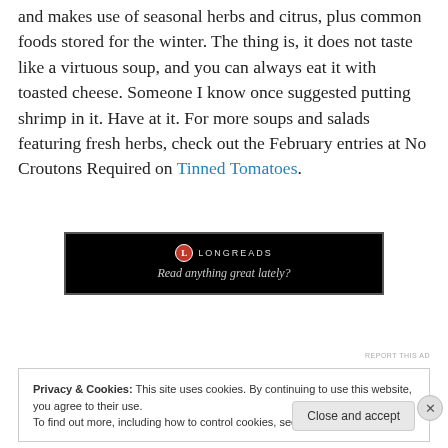and makes use of seasonal herbs and citrus, plus common foods stored for the winter. The thing is, it does not taste like a virtuous soup, and you can always eat it with toasted cheese. Someone I know once suggested putting shrimp in it. Have at it. For more soups and salads featuring fresh herbs, check out the February entries at No Croutons Required on Tinned Tomatoes.
[Figure (other): Longreads advertisement banner with black background. Shows Longreads logo (red circle with L) and text 'LONGREADS' and 'Read anything great lately?']
REPORT THIS AD
Privacy & Cookies: This site uses cookies. By continuing to use this website, you agree to their use. To find out more, including how to control cookies, see here: Cookie Policy
Close and accept